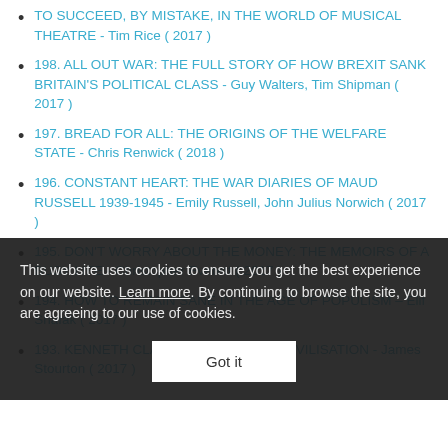TO SUCCEED, BY MISTAKE, IN THE WORLD OF MUSICAL THEATRE - Tim Rice ( 2017 )
198. ALL OUT WAR: THE FULL STORY OF HOW BREXIT SANK BRITAIN'S POLITICAL CLASS - Guy Walters, Tim Shipman ( 2017 )
197. BREAD FOR ALL: THE ORIGINS OF THE WELFARE STATE - Chris Renwick ( 2018 )
196. CONSTANT HEART: THE WAR DIARIES OF MAUD RUSSELL 1939-1945 - Emily Russell, John Julius Norwich ( 2017 )
195. [partially obscured by overlay]
194. HOW TO REMAIN SANE IN THE AGE OF POPULISM - Elif Shafak ( 2017 )
193. KENNETH CLARK: LIFE, ART AND CIVILISATION - James Stourton ( 2017 )
This website uses cookies to ensure you get the best experience on our website. Learn more. By continuing to browse the site, you are agreeing to our use of cookies.